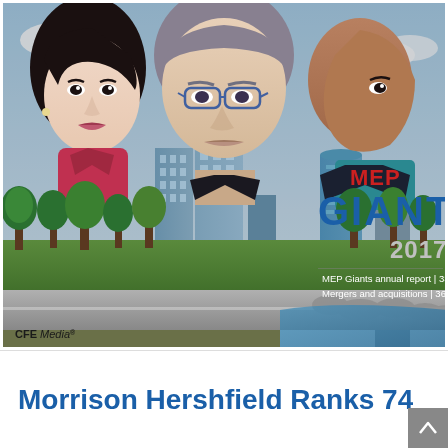[Figure (illustration): MEP Giants 2017 magazine cover showing illustrated portraits of three professionals (an Asian woman in red, a middle-aged man with glasses in center, and a Black man in teal tie), with a city skyline of tall glass buildings, trees, green park, road, and waterfront in the background. Text on cover reads: MEP (in red) GIANTS (in blue) 2017 (in gray/white), and bullet points: MEP Giants annual report | 33, Mergers and acquisitions | 36. CFE Media logo in lower left.]
Morrison Hershfield Ranks 74